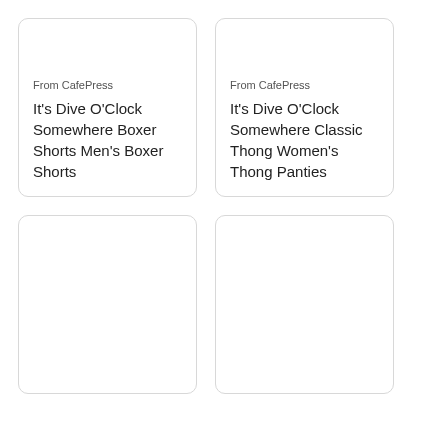From CafePress
It's Dive O'Clock Somewhere Boxer Shorts Men's Boxer Shorts
From CafePress
It's Dive O'Clock Somewhere Classic Thong Women's Thong Panties
[Figure (other): Empty product card placeholder]
[Figure (other): Empty product card placeholder]